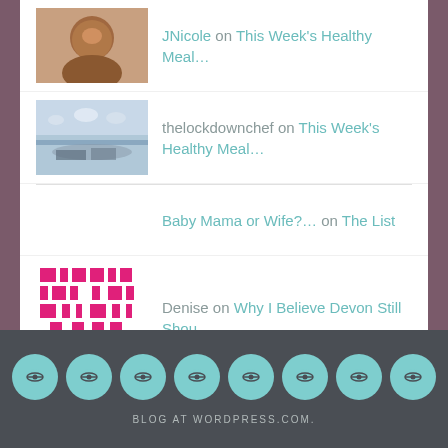JNicole on This Week's Healthy Meal…
thelockdownchef on This Week's Healthy Meal…
Baby Mama or Wife?… on The List
Denise on Why I Believe Devon Still Shou…
addressingtrauma on the night i committed suicide
BLOG AT WORDPRESS.COM.